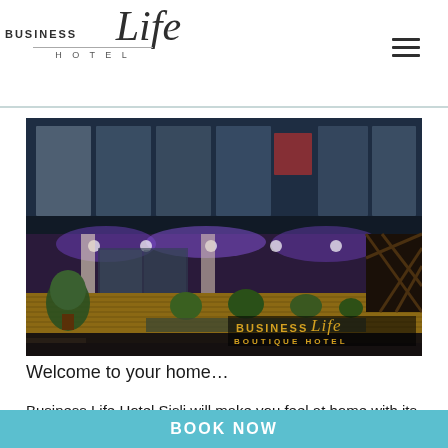BUSINESS Life HOTEL
[Figure (photo): Exterior night photo of Business Life Boutique Hotel in Şişli. The hotel facade is lit with purple and warm golden lights. A signage reading 'BUSINESS Life BOUTIQUE HOTEL' is visible at lower right in golden letters. Topiary shrubs and plants line the entrance canopy. The upper floors show a modern glass-and-steel curtain wall facade.]
Welcome to your home…
Business Life Hotel Şişli will make you feel at home with its
BOOK NOW